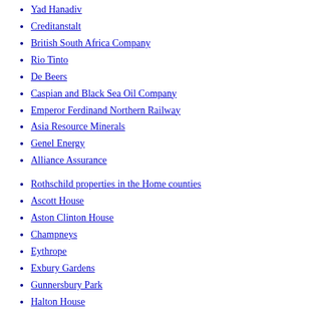Yad Hanadiv
Creditanstalt
British South Africa Company
Rio Tinto
De Beers
Caspian and Black Sea Oil Company
Emperor Ferdinand Northern Railway
Asia Resource Minerals
Genel Energy
Alliance Assurance
Rothschild properties in the Home counties
Ascott House
Aston Clinton House
Champneys
Eythrope
Exbury Gardens
Gunnersbury Park
Halton House
Mentmore Towers
Tring Park Mansion
Waddesdon Manor
Spencer House
Palais Rothschild
Château Mouton Rothschild